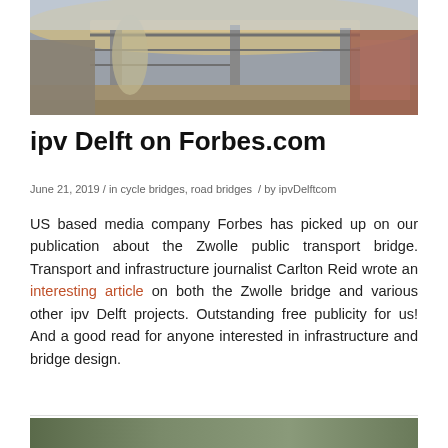[Figure (photo): Aerial/ground view of a bridge or public transport infrastructure construction site, showing structural beams and roof canopy]
ipv Delft on Forbes.com
June 21, 2019 / in cycle bridges, road bridges / by ipvDelftcom
US based media company Forbes has picked up on our publication about the Zwolle public transport bridge. Transport and infrastructure journalist Carlton Reid wrote an interesting article on both the Zwolle bridge and various other ipv Delft projects. Outstanding free publicity for us! And a good read for anyone interested in infrastructure and bridge design.
[Figure (photo): Partial view of another photo at the bottom of the page]